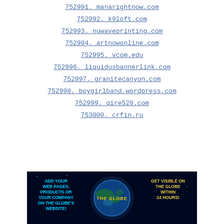752991. manarightnow.com
752992. k9loft.com
752993. nuwaveprinting.com
752994. artnowonline.com
752995. vcom.edu
752996. liquidusbannerlink.com
752997. granitecanyon.com
752998. boygirlband.wordpress.com
752999. qire520.com
753000. crfin.ru
[Figure (illustration): Advertisement banner with dark space background showing a globe, with text: ADD YOUR WEB PAGES, PRODUCTS OR YOUR COMPANY ON THE GLOBE'S WEBSITE! GET VISIBLE ON THE GLOBE WITHIN 24 HOURS!]